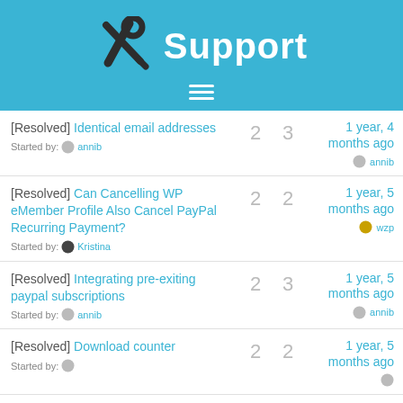Support
[Resolved] Identical email addresses — Started by: annib — 2 replies, 3 voices, 1 year, 4 months ago — annib
[Resolved] Can Cancelling WP eMember Profile Also Cancel PayPal Recurring Payment? — Started by: Kristina — 2 replies, 2 voices, 1 year, 5 months ago — wzp
[Resolved] Integrating pre-exiting paypal subscriptions — Started by: annib — 2 replies, 3 voices, 1 year, 5 months ago — annib
[Resolved] Download counter — Started by: — 2 replies, 2 voices, 1 year, 5 months ago